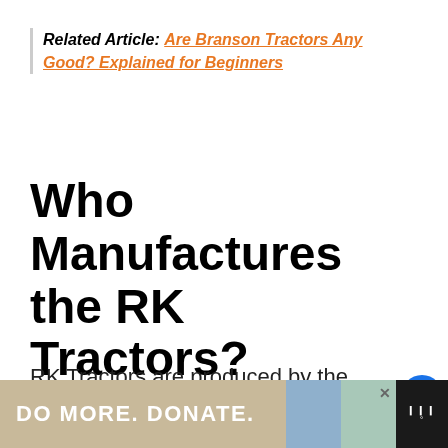Related Article: Are Branson Tractors Any Good? Explained for Beginners
Who Manufactures the RK Tractors?
RK Tractors are produced by the Tong Yang Moolsan (TYM) Company in South Korea. However, the assembly is done in the United States.
[Figure (other): Advertisement banner: DO MORE. DONATE. with two illustrated figures and a logo]
[Figure (other): Social sidebar with heart/like button showing count 3, and a share button]